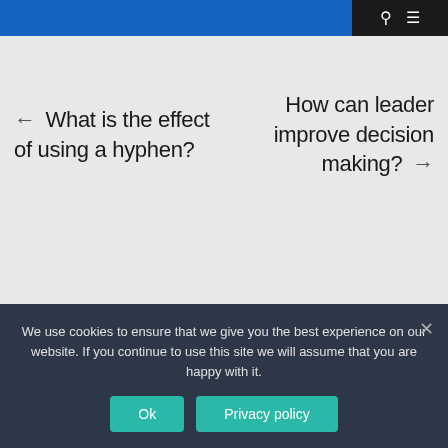Navigation bar with search and menu icons
← What is the effect of using a hyphen?
How can leader improve decision making? →
RECENT POSTS
We use cookies to ensure that we give you the best experience on our website. If you continue to use this site we will assume that you are happy with it.